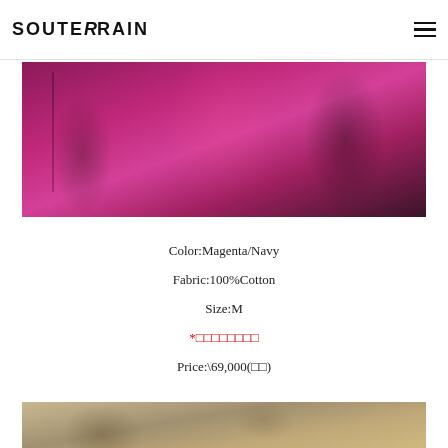SOUTERRAIN
[Figure (photo): Magenta/pink garment with cartoon line art prints displayed against a stone brick wall background]
Color:Magenta/Navy
Fabric:100%Cotton
Size:M
*□□□□□□□□
Price:\69,000(□□)
[Figure (photo): Stone brick wall background, bottom portion of product page]